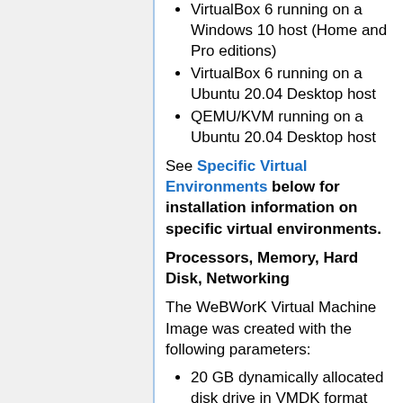VirtualBox 6 running on a Windows 10 host (Home and Pro editions)
VirtualBox 6 running on a Ubuntu 20.04 Desktop host
QEMU/KVM running on a Ubuntu 20.04 Desktop host
See Specific Virtual Environments below for installation information on specific virtual environments.
Processors, Memory, Hard Disk, Networking
The WeBWorK Virtual Machine Image was created with the following parameters:
20 GB dynamically allocated disk drive in VMDK format (single file) of which 11 GB is used
4 GB memory
2 cpu